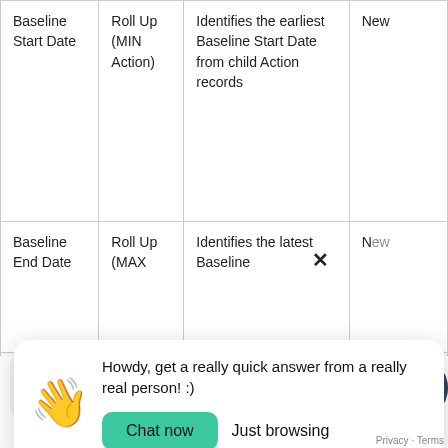| Name | Type | Description | Status |
| --- | --- | --- | --- |
| Baseline Start Date | Roll Up (MIN Action) | Identifies the earliest Baseline Start Date from child Action records | New |
| Baseline End Date | Roll Up (MAX... | Identifies the latest Baseline... | New |
| Name |  |  | Ex... |
[Figure (screenshot): Chat popup overlay with wave emoji, message 'Howdy, get a really quick answer from a really real person! :)', Chat now button, Just browsing button, and a close X button]
Write a message...
Name
Privacy · Terms